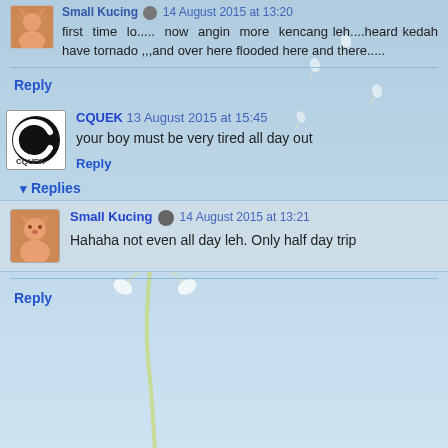first time lo..... now angin more kencang leh....heard kedah have tornado ,,,and over here flooded here and there.....
Reply
[Figure (illustration): Dandelion seeds blowing in the wind against a light blue sky background]
CQUEK  13 August 2015 at 15:45
your boy must be very tired all day out
Reply
Replies
Small Kucing  14 August 2015 at 13:21
Hahaha not even all day leh. Only half day trip
Reply